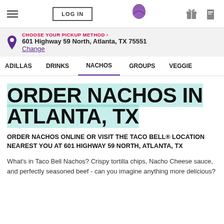LOG IN | Taco Bell | Gift | Rewards
CHOOSE YOUR PICKUP METHOD › 601 Highway 59 North, Atlanta, TX 75551 Change
ADILLAS  DRINKS  NACHOS  GROUPS  VEGGIE
ORDER NACHOS IN ATLANTA, TX
ORDER NACHOS ONLINE OR VISIT THE TACO BELL® LOCATION NEAREST YOU AT 601 HIGHWAY 59 NORTH, ATLANTA, TX
What's in Taco Bell Nachos? Crispy tortilla chips, Nacho Cheese sauce, and perfectly seasoned beef - can you imagine anything more delicious?